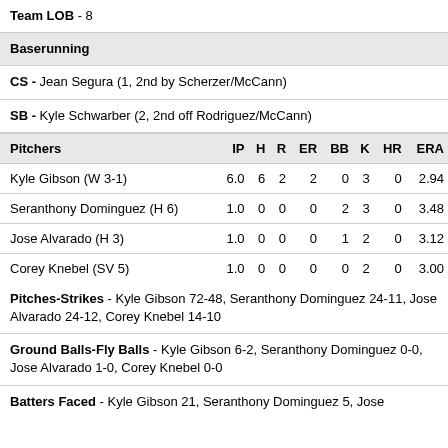Team LOB - 8
Baserunning
CS - Jean Segura (1, 2nd by Scherzer/McCann)
SB - Kyle Schwarber (2, 2nd off Rodriguez/McCann)
| Pitchers | IP | H | R | ER | BB | K | HR | ERA |
| --- | --- | --- | --- | --- | --- | --- | --- | --- |
| Kyle Gibson (W 3-1) | 6.0 | 6 | 2 | 2 | 0 | 3 | 0 | 2.94 |
| Seranthony Dominguez (H 6) | 1.0 | 0 | 0 | 0 | 2 | 3 | 0 | 3.48 |
| Jose Alvarado (H 3) | 1.0 | 0 | 0 | 0 | 1 | 2 | 0 | 3.12 |
| Corey Knebel (SV 5) | 1.0 | 0 | 0 | 0 | 0 | 2 | 0 | 3.00 |
Pitches-Strikes - Kyle Gibson 72-48, Seranthony Dominguez 24-11, Jose Alvarado 24-12, Corey Knebel 14-10
Ground Balls-Fly Balls - Kyle Gibson 6-2, Seranthony Dominguez 0-0, Jose Alvarado 1-0, Corey Knebel 0-0
Batters Faced - Kyle Gibson 21, Seranthony Dominguez 5, Jose